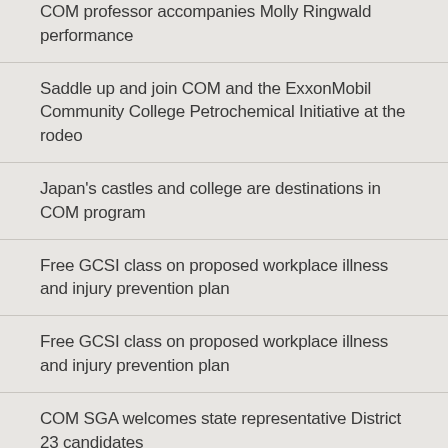COM professor accompanies Molly Ringwald performance
Saddle up and join COM and the ExxonMobil Community College Petrochemical Initiative at the rodeo
Japan's castles and college are destinations in COM program
Free GCSI class on proposed workplace illness and injury prevention plan
Free GCSI class on proposed workplace illness and injury prevention plan
COM SGA welcomes state representative District 23 candidates